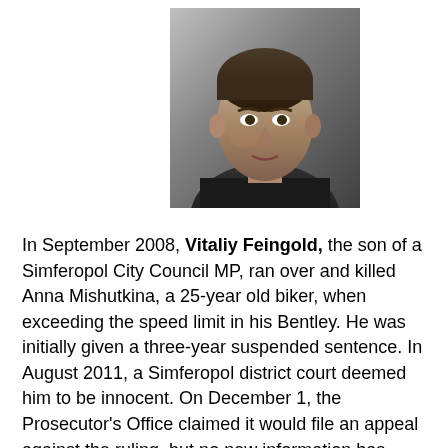[Figure (photo): Black and white portrait photo of a young man with short dark hair wearing a dark jacket, facing slightly to the right.]
In September 2008, Vitaliy Feingold, the son of a Simferopol City Council MP, ran over and killed Anna Mishutkina, a 25-year old biker, when exceeding the speed limit in his Bentley. He was initially given a three-year suspended sentence. In August 2011, a Simferopol district court deemed him to be innocent. On December 1, the Prosecutor's Office claimed it would file an appeal against the ruling, but no new information has surfaced on the case since.
Despite all vociferous promises to “bring order” and fight corruption, in many cases, the Ukrainian Themis does not mind forgiving even attempts to damage national interests. Judge Serhiy Vovk who sentenced Mr. Lutsenko to 4 years in jail, restricted himself to giving a